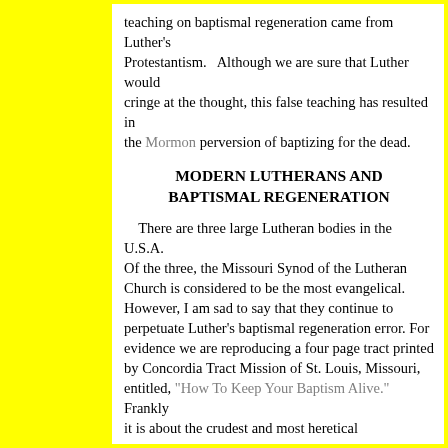teaching on baptismal regeneration came from Luther's Protestantism.   Although we are sure that Luther would cringe at the thought, this false teaching has resulted in the Mormon perversion of baptizing for the dead.
MODERN LUTHERANS AND BAPTISMAL REGENERATION
There are three large Lutheran bodies in the U.S.A. Of the three, the Missouri Synod of the Lutheran Church is considered to be the most evangelical. However, I am sad to say that they continue to perpetuate Luther's baptismal regeneration error. For evidence we are reproducing a four page tract printed by Concordia Tract Mission of St. Louis, Missouri, entitled, "How To Keep Your Baptism Alive." Frankly it is about the crudest and most heretical